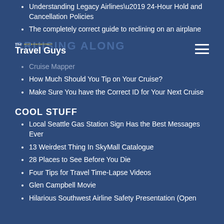Understanding Legacy Airlines’ 24-Hour Hold and Cancellation Policies
The completely correct guide to reclining on an airplane
[Figure (logo): The Travel Guys logo with 'and entertainment' tagline overlay, CRUISING ALONG section header in background, and hamburger menu icon]
Cruise Mapper
How Much Should You Tip on Your Cruise?
Make Sure You have the Correct ID for Your Next Cruise
COOL STUFF
Local Seattle Gas Station Sign Has the Best Messages Ever
13 Weirdest Thing In SkyMall Catalogue
28 Places to See Before You Die
Four Tips for Travel Time-Lapse Videos
Glen Campbell Movie
Hilarious Southwest Airline Safety Presentation (Open